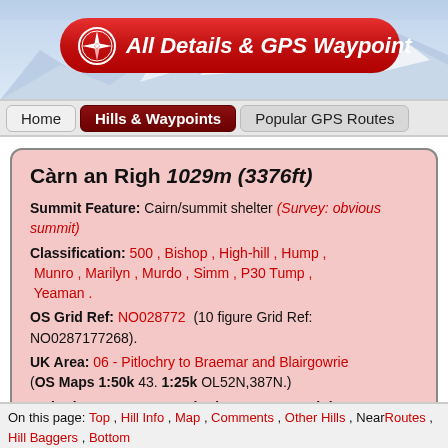[Figure (screenshot): Mountain landscape header with snow-capped peaks, blue sky background]
All Details & GPS Waypoint
Home | Hills & Waypoints | Popular GPS Routes
Càrn an Righ 1029m (3376ft)
Summit Feature: Cairn/summit shelter (Survey: obvious summit)
Classification: 500 , Bishop , High-hill , Hump , Munro , Marilyn , Murdo , Simm , P30 Tump , Yeaman .
OS Grid Ref: NO028772 (10 figure Grid Ref: NO0287177268).
UK Area: 06 - Pitlochry to Braemar and Blairgowrie (OS Maps 1:50k 43. 1:25k OL52N,387N.)
Latitude: 56.87658, Longitude: -3.59527, Height: 1029 metres (3376 feet)
On this page: Top , Hill Info , Map , Comments , Other Hills , Near Routes , Hill Baggers , Bottom